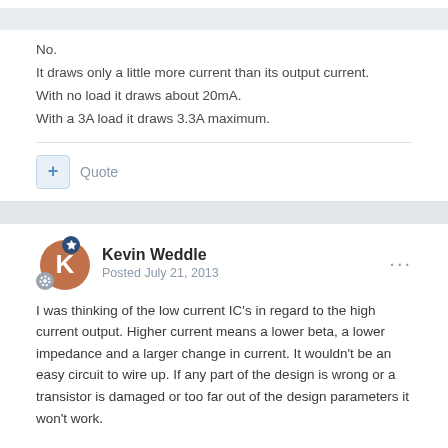No.
It draws only a little more current than its output current.
With no load it draws about 20mA.
With a 3A load it draws 3.3A maximum.
Quote
Kevin Weddle
Posted July 21, 2013
I was thinking of the low current IC's in regard to the high current output. Higher current means a lower beta, a lower impedance and a larger change in current. It wouldn't be an easy circuit to wire up. If any part of the design is wrong or a transistor is damaged or too far out of the design parameters it won't work.